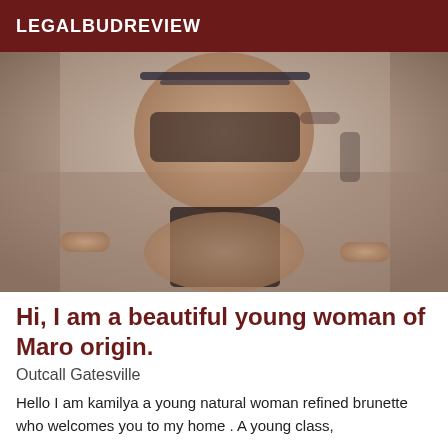LEGALBUDREVIEW
[Figure (photo): A young woman with dark blue-highlighted hair wearing black lace lingerie, posed against a light background.]
Hi, I am a beautiful young woman of Maro origin.
Outcall Gatesville
Hello I am kamilya a young natural woman refined brunette who welcomes you to my home . A young class,